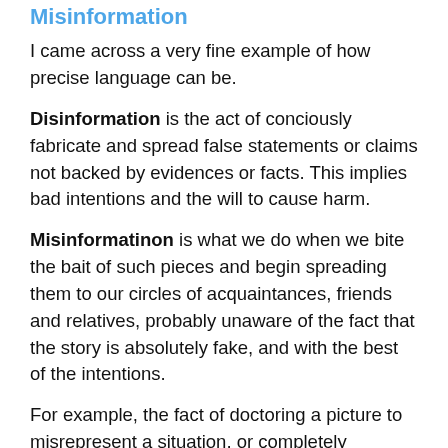Misinformation
I came across a very fine example of how precise language can be.
Disinformation is the act of conciously fabricate and spread false statements or claims not backed by evidences or facts. This implies bad intentions and the will to cause harm.
Misinformatinon is what we do when we bite the bait of such pieces and begin spreading them to our circles of acquaintances, friends and relatives, probably unaware of the fact that the story is absolutely fake, and with the best of the intentions.
For example, the fact of doctoring a picture to misrepresent a situation, or completely fabricate it, is disinformation while sharing it unaware would be...